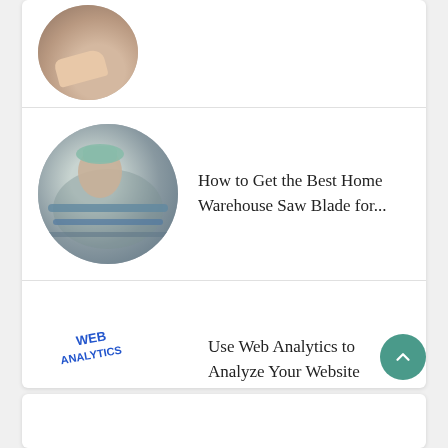[Figure (photo): Circular thumbnail image of hands working on documents/drawings, partially visible at top]
[Figure (photo): Circular thumbnail image of a person working with metalworking/saw blade equipment]
How to Get the Best Home Warehouse Saw Blade for...
[Figure (illustration): Web Analytics tablet illustration with bar charts and text 'WEB ANALYTICS']
Use Web Analytics to Analyze Your Website Performance